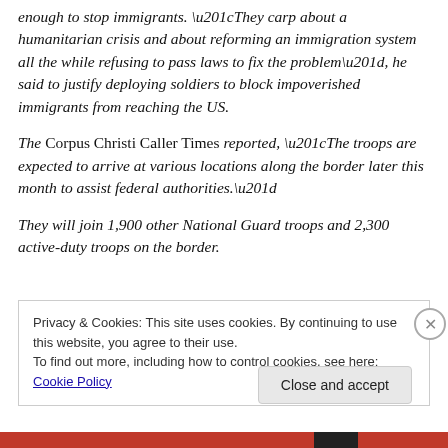enough to stop immigrants. “They carp about a humanitarian crisis and about reforming an immigration system all the while refusing to pass laws to fix the problem”, he said to justify deploying soldiers to block impoverished immigrants from reaching the US.
The Corpus Christi Caller Times reported, “The troops are expected to arrive at various locations along the border later this month to assist federal authorities.”
They will join 1,900 other National Guard troops and 2,300 active-duty troops on the border.
Privacy & Cookies: This site uses cookies. By continuing to use this website, you agree to their use.
To find out more, including how to control cookies, see here: Cookie Policy